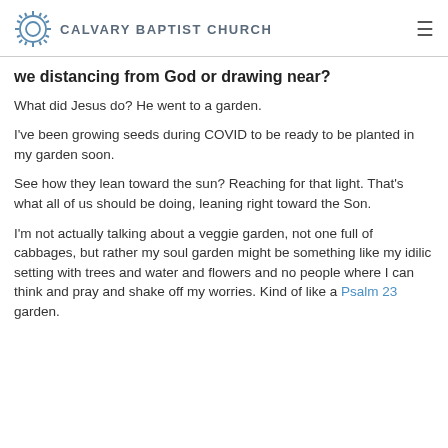CALVARY BAPTIST CHURCH
we distancing from God or drawing near?
What did Jesus do? He went to a garden.
I've been growing seeds during COVID to be ready to be planted in my garden soon.
See how they lean toward the sun? Reaching for that light. That's what all of us should be doing, leaning right toward the Son.
I'm not actually talking about a veggie garden, not one full of cabbages, but rather my soul garden might be something like my idilic setting with trees and water and flowers and no people where I can think and pray and shake off my worries. Kind of like a Psalm 23 garden.